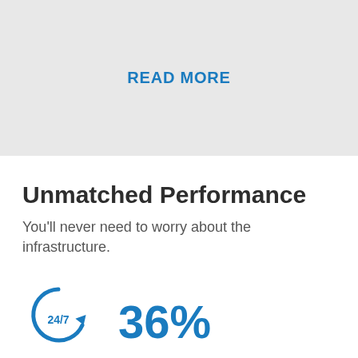READ MORE
Unmatched Performance
You'll never need to worry about the infrastructure.
[Figure (illustration): 24/7 circular arrow icon on the left, and '36%' large blue percentage text on the right, partially visible at bottom of page]